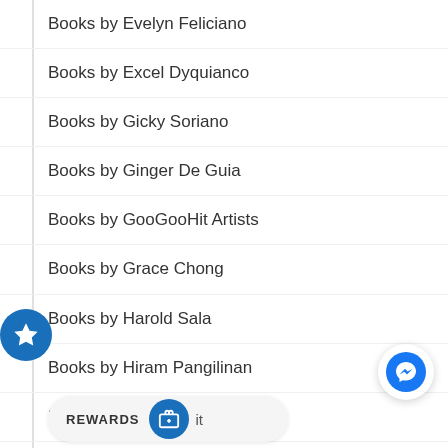Books by Evelyn Feliciano
Books by Excel Dyquianco
Books by Gicky Soriano
Books by Ginger De Guia
Books by GooGooHit Artists
Books by Grace Chong
Books by Harold Sala
Books by Hiram Pangilinan
Books by Isa Garcia
REWARDS  it